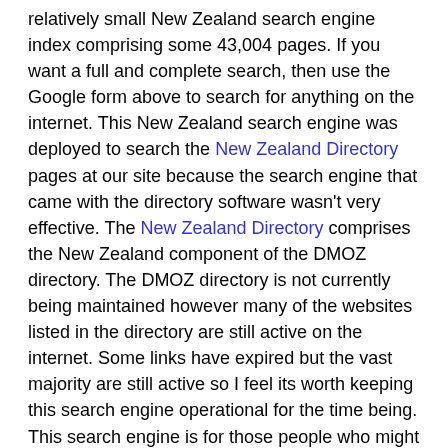relatively small New Zealand search engine index comprising some 43,004 pages. If you want a full and complete search, then use the Google form above to search for anything on the internet. This New Zealand search engine was deployed to search the New Zealand Directory pages at our site because the search engine that came with the directory software wasn't very effective. The New Zealand Directory comprises the New Zealand component of the DMOZ directory. The DMOZ directory is not currently being maintained however many of the websites listed in the directory are still active on the internet. Some links have expired but the vast majority are still active so I feel its worth keeping this search engine operational for the time being. This search engine is for those people who might find some utility using a directory and the DMOZ directory was very effective in its day.
Search Results
Your search for cool found the following documents (of 43004 documents searched):
Displaying documents 321-340 of 721, with best matches first: